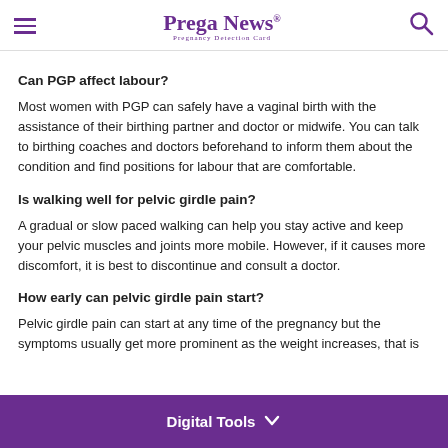Prega News — Pregnancy Detection Card
Can PGP affect labour?
Most women with PGP can safely have a vaginal birth with the assistance of their birthing partner and doctor or midwife. You can talk to birthing coaches and doctors beforehand to inform them about the condition and find positions for labour that are comfortable.
Is walking well for pelvic girdle pain?
A gradual or slow paced walking can help you stay active and keep your pelvic muscles and joints more mobile. However, if it causes more discomfort, it is best to discontinue and consult a doctor.
How early can pelvic girdle pain start?
Pelvic girdle pain can start at any time of the pregnancy but the symptoms usually get more prominent as the weight increases, that is
Digital Tools